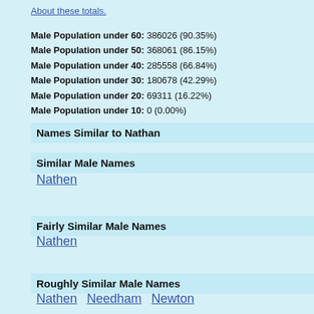About these totals.
Male Population under 60: 386026 (90.35%)
Male Population under 50: 368061 (86.15%)
Male Population under 40: 285558 (66.84%)
Male Population under 30: 180678 (42.29%)
Male Population under 20: 69311 (16.22%)
Male Population under 10: 0 (0.00%)
Names Similar to Nathan
Similar Male Names
Nathen
Fairly Similar Male Names
Nathen
Roughly Similar Male Names
Nathen  Needham  Newton